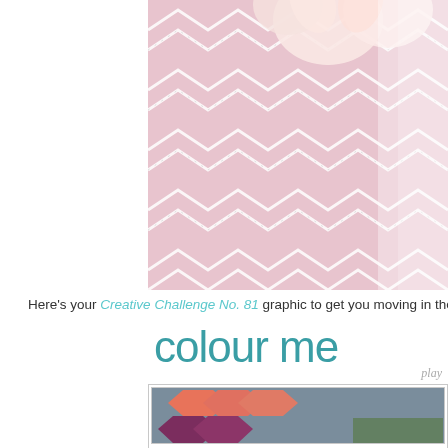[Figure (photo): Close-up photo of a pink chevron patterned paper craft with white stitching details and white fluffy flowers/embellishments]
Here's your Creative Challenge No. 81 graphic to get you moving in the righ
[Figure (other): Colour Me challenge graphic showing 'colour me' text in teal and a color swatch card with coral/salmon, dark purple/maroon chevron shapes on a grey-blue background]